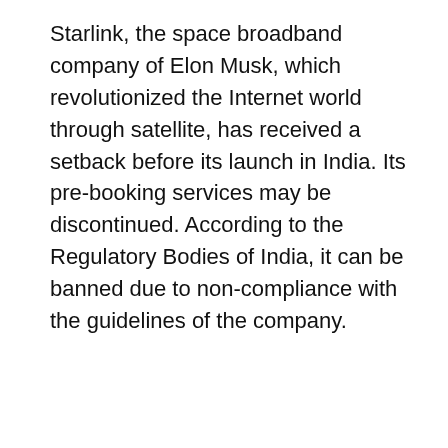Starlink, the space broadband company of Elon Musk, which revolutionized the Internet world through satellite, has received a setback before its launch in India. Its pre-booking services may be discontinued. According to the Regulatory Bodies of India, it can be banned due to non-compliance with the guidelines of the company.